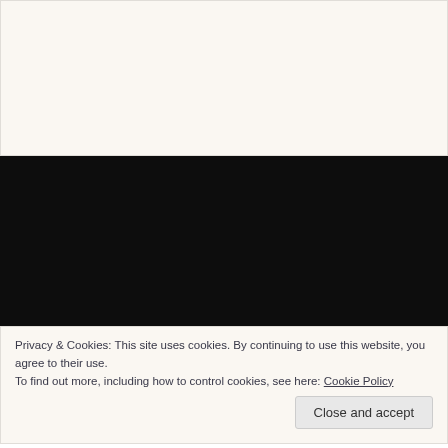[Figure (screenshot): Top white/cream area representing a webpage content region above a black media player or video area]
[Figure (screenshot): Black rectangle representing a video player or dark content area on a webpage]
Privacy & Cookies: This site uses cookies. By continuing to use this website, you agree to their use.
To find out more, including how to control cookies, see here: Cookie Policy
Close and accept